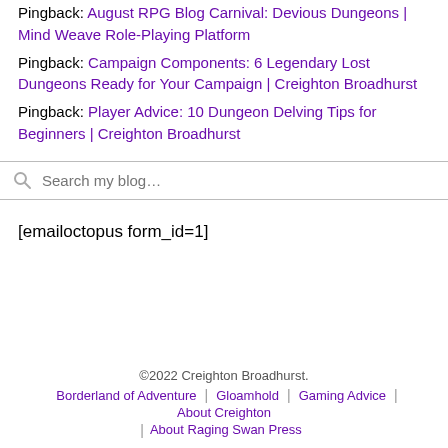Pingback: August RPG Blog Carnival: Devious Dungeons | Mind Weave Role-Playing Platform
Pingback: Campaign Components: 6 Legendary Lost Dungeons Ready for Your Campaign | Creighton Broadhurst
Pingback: Player Advice: 10 Dungeon Delving Tips for Beginners | Creighton Broadhurst
Search my blog…
[emailoctopus form_id=1]
©2022 Creighton Broadhurst. Borderland of Adventure | Gloamhold | Gaming Advice | About Creighton | About Raging Swan Press